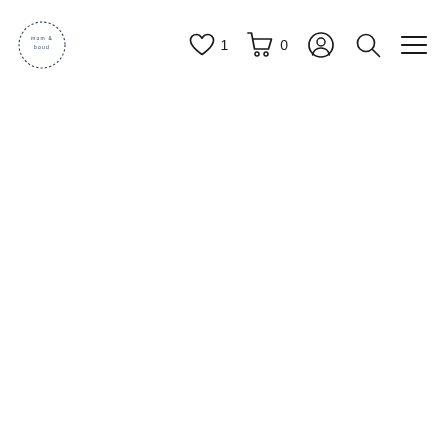mom & boud — wishlist 1, cart 0, account, search, menu